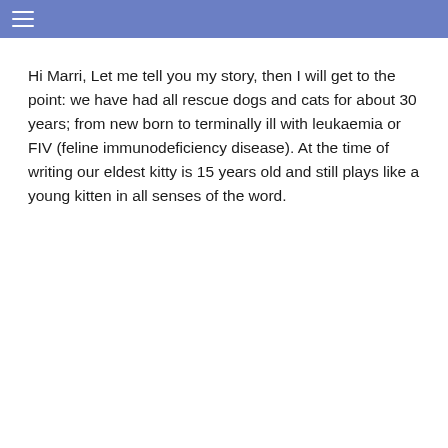≡
Hi Marri, Let me tell you my story, then I will get to the point: we have had all rescue dogs and cats for about 30 years; from new born to terminally ill with leukaemia or FIV (feline immunodeficiency disease). At the time of writing our eldest kitty is 15 years old and still plays like a young kitten in all senses of the word.